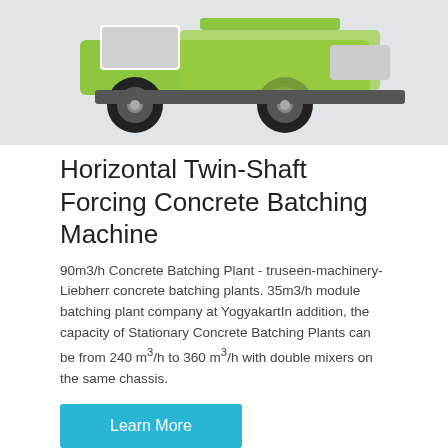[Figure (photo): Horizontal Twin-Shaft Forcing Concrete Batching Machine photo on light gray background, showing green and white construction machinery with large tires]
Horizontal Twin-Shaft Forcing Concrete Batching Machine
90m3/h Concrete Batching Plant - truseen-machinery-Liebherr concrete batching plants. 35m3/h module batching plant company at YogyakartIn addition, the capacity of Stationary Concrete Batching Plants can be from 240 m³/h to 360 m³/h with double mixers on the same chassis.
Learn More
[Figure (photo): Bottom photo showing green concrete mixer machinery with dual drum against blue sky background]
Send Message
Inquiry Online